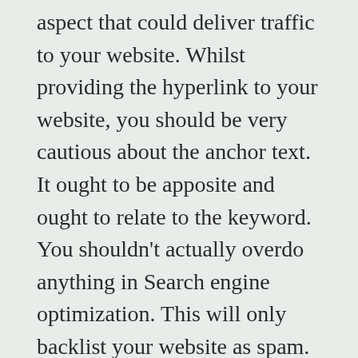aspect that could deliver traffic to your website. Whilst providing the hyperlink to your website, you should be very cautious about the anchor text. It ought to be apposite and ought to relate to the keyword. You shouldn't actually overdo anything in Search engine optimization. This will only backlist your website as spam.
But it is extremely important to choose the affordable seo australia for your company before you begin into it. The expensive packs are not always the best. There may be small deals from little businesses that are offering excellent services. Your specifications will be very best understood by them and they will strategy the best technique for you appropriately. They will have devoted services as they are also specializing in this field. The higher quality of